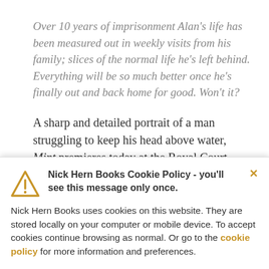Over 10 years of imprisonment Alan's life has been measured out in weekly visits from his family; slices of the normal life he's left behind. Everything will be so much better once he's finally out and back home for good. Won't it?
A sharp and detailed portrait of a man struggling to keep his head above water, Mint premieres today at the Royal Court Theatre, London, on 2 July, the first play written by
Nick Hern Books Cookie Policy - you'll see this message only once.

Nick Hern Books uses cookies on this website. They are stored locally on your computer or mobile device. To accept cookies continue browsing as normal. Or go to the cookie policy for more information and preferences.